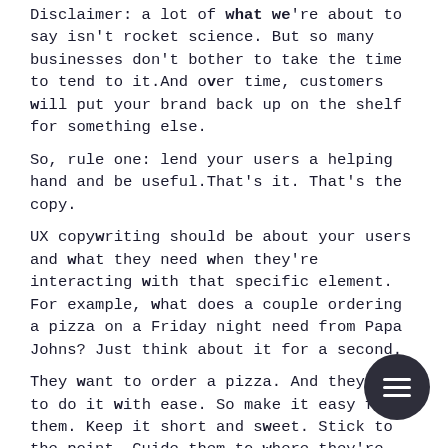Disclaimer: a lot of what we're about to say isn't rocket science. But so many businesses don't bother to take the time to tend to it.And over time, customers will put your brand back up on the shelf for something else.
So, rule one: lend your users a helping hand and be useful.That's it. That's the copy.
UX copywriting should be about your users and what they need when they're interacting with that specific element. For example, what does a couple ordering a pizza on a Friday night need from Papa Johns? Just think about it for a second.
They want to order a pizza. And they want to do it with ease. So make it easy for them. Keep it short and sweet. Stick to the point. Guide them to where they're going without sending them on a goose chase.
Think of all the things your users might interact with your website. Now think of all the things they might need help with. Connect the dots -it's not as hard as it seems. If
[Figure (other): Dark circular menu button with three horizontal white lines (hamburger icon)]